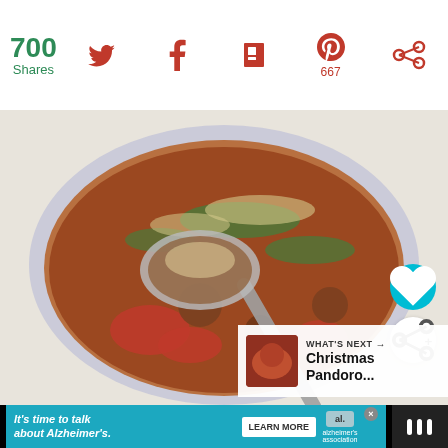700 Shares
[Figure (photo): A bowl of soup with tomatoes, barley, okra, and meatballs, with a spoon lifting ingredients, served in a blue floral-rimmed white bowl on a white tablecloth. Overlay UI shows heart and share buttons, and a 'What's Next' panel for 'Christmas Pandoro...']
WHAT'S NEXT → Christmas Pandoro...
It's time to talk about Alzheimer's. LEARN MORE